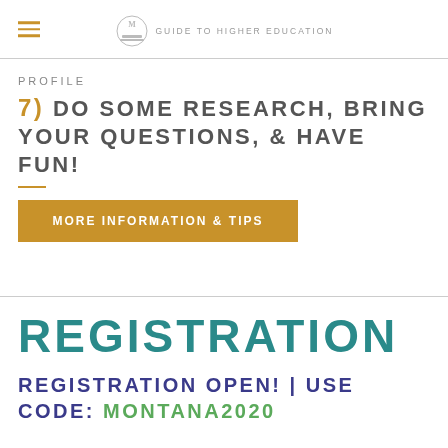GUIDE TO HIGHER EDUCATION
PROFILE
7) DO SOME RESEARCH, BRING YOUR QUESTIONS, & HAVE FUN!
MORE INFORMATION & TIPS
REGISTRATION
REGISTRATION OPEN! | USE CODE: MONTANA2020